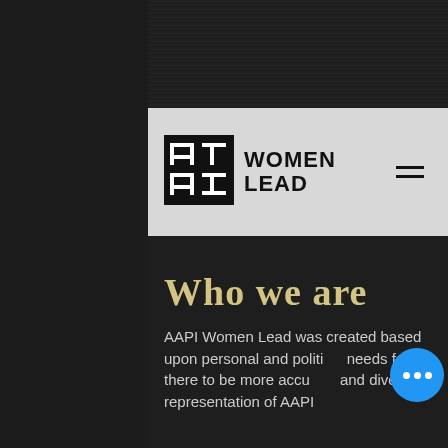[Figure (logo): AAPI Women Lead logo with stylized block letterform and bold text reading WOMEN LEAD]
Who we are
AAPI Women Lead was created based upon personal and political needs for there to be more accurate and diverse representation of AAPI